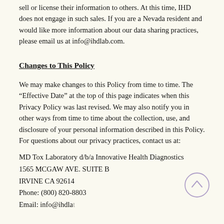sell or license their information to others. At this time, IHD does not engage in such sales. If you are a Nevada resident and would like more information about our data sharing practices, please email us at info@ihdlab.com.
Changes to This Policy
We may make changes to this Policy from time to time. The “Effective Date” at the top of this page indicates when this Privacy Policy was last revised. We may also notify you in other ways from time to time about the collection, use, and disclosure of your personal information described in this Policy. For questions about our privacy practices, contact us at:
MD Tox Laboratory d/b/a Innovative Health Diagnostics
1565 MCGAW AVE. SUITE B
IRVINE CA 92614
Phone: (800) 820-8803
Email: info@ihdla...